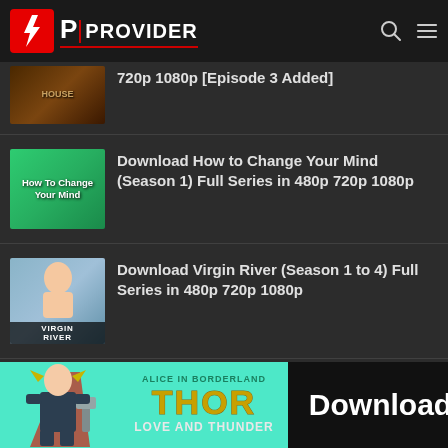OP PROVIDER
720p 1080p [Episode 3 Added]
Download How to Change Your Mind (Season 1) Full Series in 480p 720p 1080p
Download Virgin River (Season 1 to 4) Full Series in 480p 720p 1080p
Download Alice in Borderland
[Figure (screenshot): Thor Love and Thunder promotional banner with Download button]